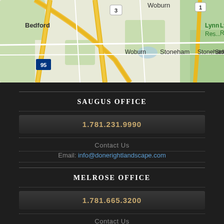[Figure (map): Google Maps view showing Bedford, Woburn, Stoneham, Lynn area with highways 3, 95, and 1 visible]
SAUGUS OFFICE
1.781.231.9990
Contact Us
Email: info@donerightlandscape.com
MELROSE OFFICE
1.781.665.3200
Contact Us